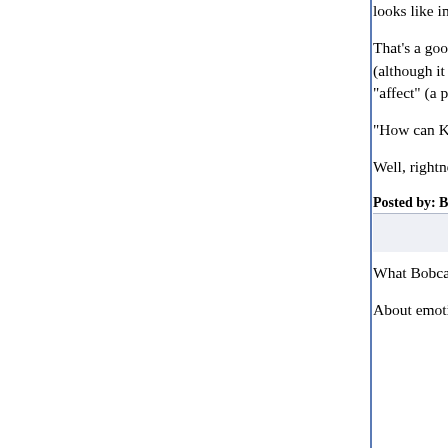looks like in the first place?
That's a good question, and not an easy one to a... probably be better placed to answer this than I, b... supplementary role; it can help to motivate people... reason (although it can also make it more difficult... dictates), and to some extent it can help (or hurt)... dictates, but also with *identifying* them; someone... Kant calls an "affect" (a powerful emotion that inte... reason) might be briefly unable to see what her m... is.
"How can Kant (& co) call something 'morality' wh... of human moral experience, which is the strong e... wrongness?"
Well, rightness or wrongness, Kant would say, is n... property of actions or maxims. Kant never says th... reactions to actions or maxims, though.
Posted by: Bobcat | July 22, 2006 at 03:29 PM
What Bobcat said.
About emotion: Kant thinks that it is not itself a gu...